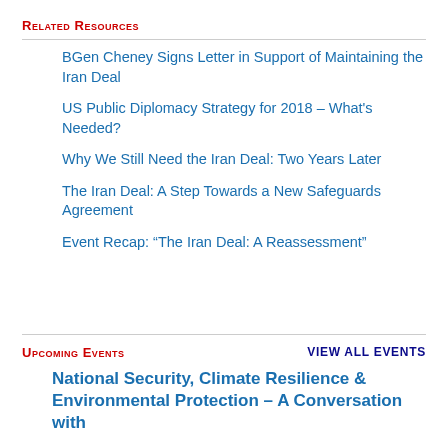Related Resources
BGen Cheney Signs Letter in Support of Maintaining the Iran Deal
US Public Diplomacy Strategy for 2018 – What's Needed?
Why We Still Need the Iran Deal: Two Years Later
The Iran Deal: A Step Towards a New Safeguards Agreement
Event Recap: “The Iran Deal: A Reassessment”
Upcoming Events
VIEW ALL EVENTS
National Security, Climate Resilience & Environmental Protection – A Conversation with